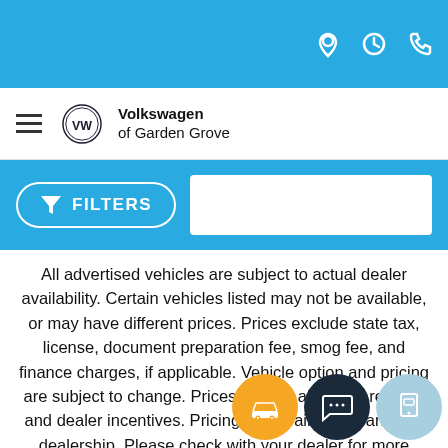Volkswagen of Garden Grove
[Figure (other): Filters button with funnel icon in a pill shape on blue background]
All advertised vehicles are subject to actual dealer availability. Certain vehicles listed may not be available, or may have different prices. Prices exclude state tax, license, document preparation fee, smog fee, and finance charges, if applicable. Vehicle option and pricing are subject to change. Prices include all dealer rebates and dealer incentives. Pricing and availability varies by dealership. Please check with your dealer for more information. Prices do not include dealer charges, such as advertising, that can vary by manufacturer or region, or costs for selling, preparing, displaying or financing the vehicle. Images displayed may not be representative of the